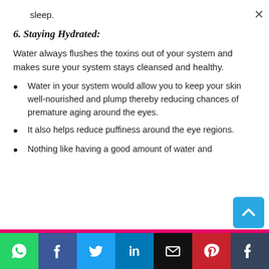sleep.
6. Staying Hydrated:
Water always flushes the toxins out of your system and makes sure your system stays cleansed and healthy.
Water in your system would allow you to keep your skin well-nourished and plump thereby reducing chances of premature aging around the eyes.
It also helps reduce puffiness around the eye regions.
Nothing like having a good amount of water and